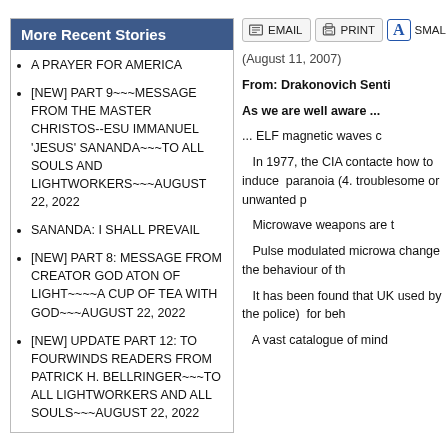More Recent Stories
A PRAYER FOR AMERICA
[NEW] PART 9~~~MESSAGE FROM THE MASTER CHRISTOS--ESU IMMANUEL 'JESUS' SANANDA~~~TO ALL SOULS AND LIGHTWORKERS~~~AUGUST 22, 2022
SANANDA: I SHALL PREVAIL
[NEW] PART 8: MESSAGE FROM CREATOR GOD ATON OF LIGHT~~~~A CUP OF TEA WITH GOD~~~AUGUST 22, 2022
[NEW] UPDATE PART 12: TO FOURWINDS READERS FROM PATRICK H. BELLRINGER~~~TO ALL LIGHTWORKERS AND ALL SOULS~~~AUGUST 22, 2022
Help Us Grow
Like Us On Facebook and Follow Our Posts
(August 11, 2007)
From: Drakonovich Senti
As we are well aware ...
... ELF magnetic waves c
In 1977, the CIA contacte how to induce  paranoia (4. troublesome or unwanted p
Microwave weapons are t
Pulse modulated microwa change the behaviour of th
It has been found that UK used by the police)  for beh
A vast catalogue of mind